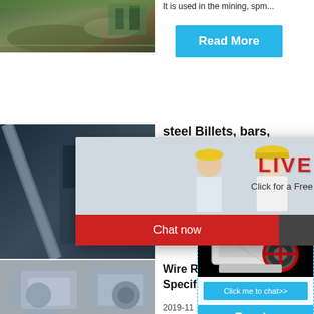[Figure (photo): Aerial/ground view of a mining site with piles of earth and industrial equipment]
[Figure (other): Blue Read More button]
It is used in the mining, spm...
[Figure (photo): Industrial facility with conveyor pipes and heavy equipment]
steel Billets, bars,
[Figure (photo): Live Chat popup overlay showing workers in yellow hard hats with LIVE CHAT text and buttons Chat now / Chat later]
[Figure (other): Sidebar chat widget showing a jaw crusher machine image with Click me to chat>> button, Enquiry button, and limingjlmofen username. Hour online text visible.]
[Figure (photo): Close-up of crusher/industrial machine parts in grey/white tones]
Wire Ro... Specifi...
2019-11